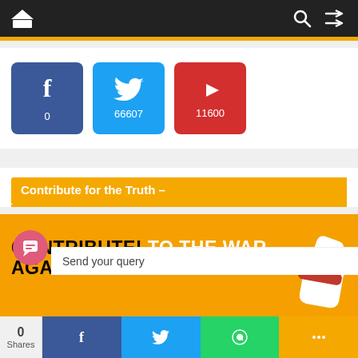Navigation bar with home, search, and shuffle icons
[Figure (infographic): Facebook icon box with count 0, Twitter icon box with count 66607, YouTube icon box with count 11600]
Contribute for the Truth –
[Figure (infographic): Orange banner: CONTRIBUTE! TO THE WAR AGAINST FAKE NEWS with fist graphic]
0 Shares | Facebook share | Twitter share | WhatsApp share | More share